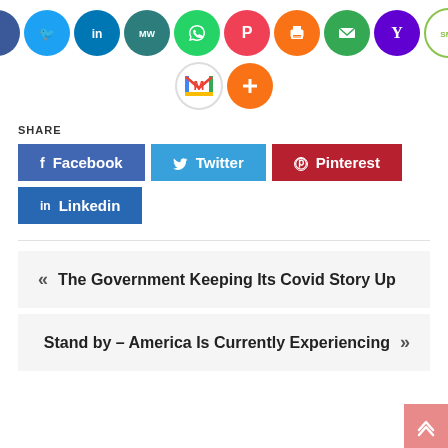[Figure (infographic): Row of social sharing icon circles: Facebook (blue), Twitter (light blue), LinkedIn (dark blue), MW (teal), WhatsApp (green), Pinterest-like (dark red), Printer (orange), Email (green), Yahoo (purple), SMS (green outline). Second row: Gmail (white), More/Plus (orange).]
SHARE
[Figure (infographic): Social share buttons: Facebook (blue), Twitter (light blue), Pinterest (dark red), Linkedin (blue)]
« The Government Keeping Its Covid Story Up
Stand by – America Is Currently Experiencing »